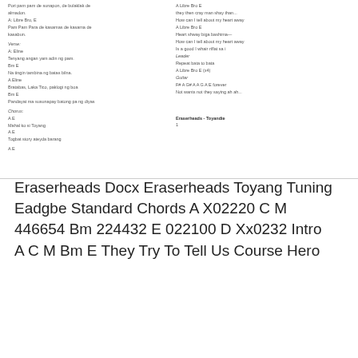Pori pam pam de sunapon, de bulaklak de almadon.
A: Libre Bro, E
Pam Pam Para de kasamas de kasama de kasabun.

Verse:
A: Eline
Tenyang angan yam adin ng pam.
Bm E
Na tingin tambina ng batas bilna.
A Eline
Bratabas, Laka Tico, paklogi ng boa
Bm E
Pandayat ma susunapay batong pa ng diyas

Chorus:
A E
Mahal ko si Toyang
A E
Togbat story ateyda barang

A E
A Libre Bro E
They then cray man shay than...
How can I tell about my heart away
A Libre Bro E
Heart shway biga bashima—
How can I tell about my heart away

Is a good I whair riflat sa i

Leader

Repeat bata to bata
A Libre Bro E (x4)

Guitar
F# A G# A A G A E forever
Not wants not they saying ah ah...
Eraserheads - Toyandie
1
Eraserheads Docx Eraserheads Toyang Tuning Eadgbe Standard Chords A X02220 C M 446654 Bm 224432 E 022100 D Xx0232 Intro A C M Bm E They Try To Tell Us Course Hero